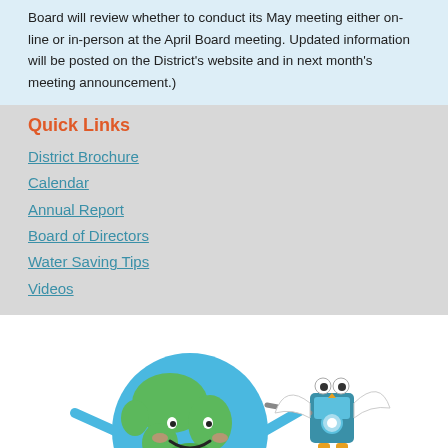Board will review whether to conduct its May meeting either on-line or in-person at the April Board meeting. Updated information will be posted on the District's website and in next month's meeting announcement.)
Quick Links
District Brochure
Calendar
Annual Report
Board of Directors
Water Saving Tips
Videos
[Figure (illustration): Cartoon illustration of a smiling Earth globe character dancing and holding hands with a cartoon owl robot with wings, flying and holding a book/device. Below them text reads 'Happy Earth Day!' in bold dark blue letters.]